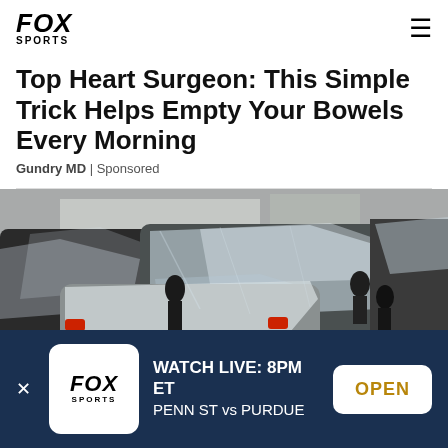FOX SPORTS
Top Heart Surgeon: This Simple Trick Helps Empty Your Bowels Every Morning
Gundry MD | Sponsored
[Figure (photo): Photo of multiple cars covered in plastic wrap/protective covers inside a large facility, with people standing among the vehicles]
WATCH LIVE: 8PM ET PENN ST vs PURDUE OPEN